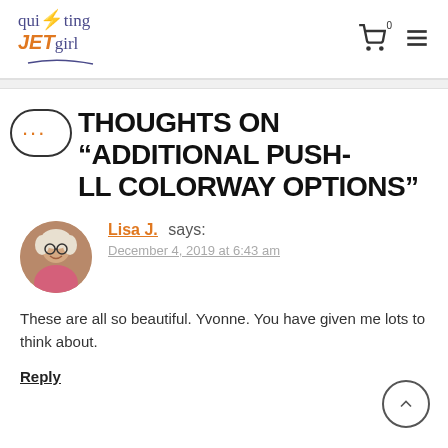quilting JET girl — logo and navigation header
THOUGHTS ON “ADDITIONAL PUSH-LL COLORWAY OPTIONS”
Lisa J. says:
December 4, 2019 at 6:43 am

These are all so beautiful. Yvonne. You have given me lots to think about.
Reply